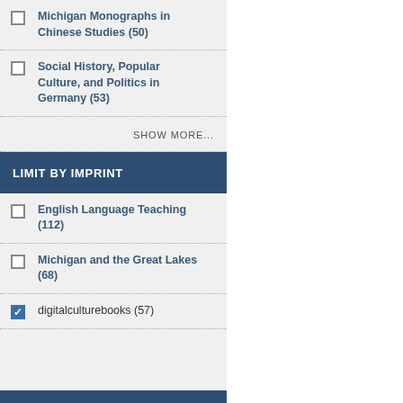Michigan Monographs in Chinese Studies (50)
Social History, Popular Culture, and Politics in Germany (53)
SHOW MORE...
LIMIT BY IMPRINT
English Language Teaching (112)
Michigan and the Great Lakes (68)
digitalculturebooks (57)